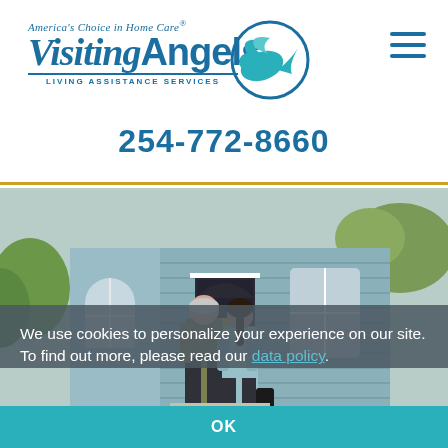[Figure (logo): Visiting Angels logo with tagline 'America's Choice in Home Care' and bird icon]
254-772-8660
[Figure (photo): An elderly man and a caregiver walking together toward a blue Victorian-style house]
We use cookies to personalize your experience on our site. To find out more, please read our data policy.
OK